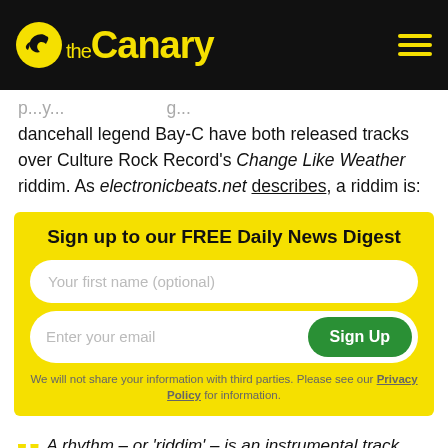the Canary
dancehall legend Bay-C have both released tracks over Culture Rock Record's Change Like Weather riddim. As electronicbeats.net describes, a riddim is:
Sign up to our FREE Daily News Digest
Your first name (optional)
Enter your email
Sign Up
We will not share your information with third parties. Please see our Privacy Policy for information.
A rhythm – or 'riddim' – is an instrumental track created by a producer or label that's given to vocalists to create